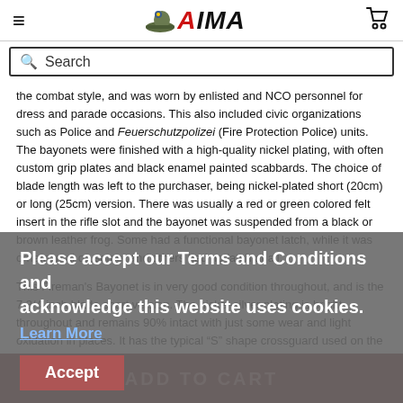IMA (logo with hat icon) — hamburger menu and cart icons
Search
the combat style, and was worn by enlisted and NCO personnel for dress and parade occasions. This also included civic organizations such as Police and Feuerschutzpolizei (Fire Protection Police) units. The bayonets were finished with a high-quality nickel plating, with often custom grip plates and black enamel painted scabbards. The choice of blade length was left to the purchaser, being nickel-plated short (20cm) or long (25cm) version. There was usually a red or green colored felt insert in the rifle slot and the bayonet was suspended from a black or brown leather frog. Some had a functional bayonet latch, while it was ornamental on some, and others had no latch at all.
This Fireman's Bayonet is in very good condition throughout, and is the 7 3/4-inch blade short version. The nickel-silver plating is bright throughout and remains 90% intact with just some wear and light oxidation in places. It has the typical "S" shape crossguard used on the Fireman issue bayonet. The grip plates are the checkered black Bakelite type, in excellent condition and retained by nickel rivets with dressed obverse heads.
Please accept our Terms and Conditions and acknowledge this website uses cookies.
Learn More
Accept
ADD TO CART